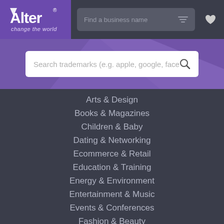[Figure (logo): Alter logo with text 'change the world' on purple background]
Find a business name
Search trademarks (e.g. apple, google, face
Arts & Design
Books & Magazines
Children & Baby
Dating & Networking
Ecommerce & Retail
Education & Training
Energy & Environment
Entertainment & Music
Events & Conferences
Fashion & Beauty
Finance & Cryptocurrency
Food & Drink
Government & Politics